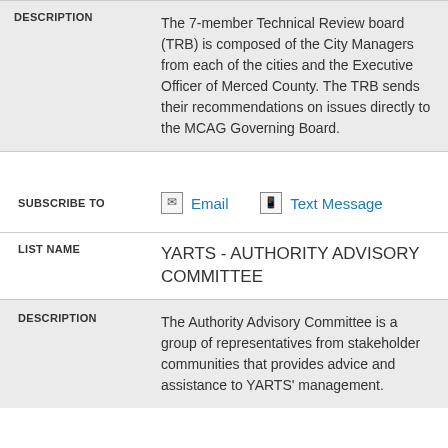| DESCRIPTION |  |
| --- | --- |
| DESCRIPTION | The 7-member Technical Review board (TRB) is composed of the City Managers from each of the cities and the Executive Officer of Merced County. The TRB sends their recommendations on issues directly to the MCAG Governing Board. |
| SUBSCRIBE TO | Email  Text Message |
| LIST NAME | YARTS - AUTHORITY ADVISORY COMMITTEE |
| DESCRIPTION | The Authority Advisory Committee is a group of representatives from stakeholder communities that provides advice and assistance to YARTS' management. |